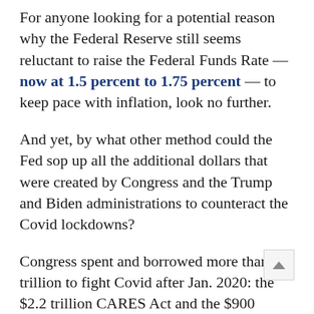For anyone looking for a potential reason why the Federal Reserve still seems reluctant to raise the Federal Funds Rate — now at 1.5 percent to 1.75 percent — to keep pace with inflation, look no further.
And yet, by what other method could the Fed sop up all the additional dollars that were created by Congress and the Trump and Biden administrations to counteract the Covid lockdowns?
Congress spent and borrowed more than $6 trillion to fight Covid after Jan. 2020: the $2.2 trillion CARES Act and the $900 billion phase